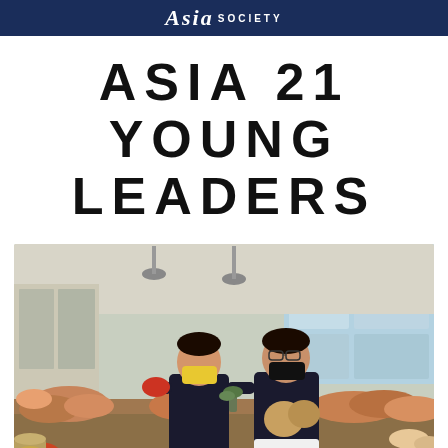Asia Society
ASIA 21 YOUNG LEADERS
[Figure (photo): Two women wearing face masks (one yellow, one black) standing in a room filled with various mushrooms and fungi displayed on a counter and shelves. They are both holding mushrooms. The room has large windows and pendant lights. Both women are wearing dark polo shirts.]